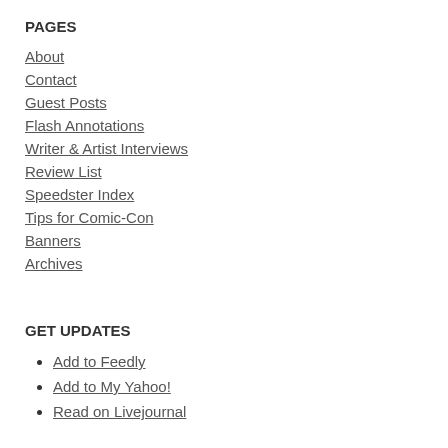PAGES
About
Contact
Guest Posts
Flash Annotations
Writer & Artist Interviews
Review List
Speedster Index
Tips for Comic-Con
Banners
Archives
GET UPDATES
Add to Feedly
Add to My Yahoo!
Read on Livejournal